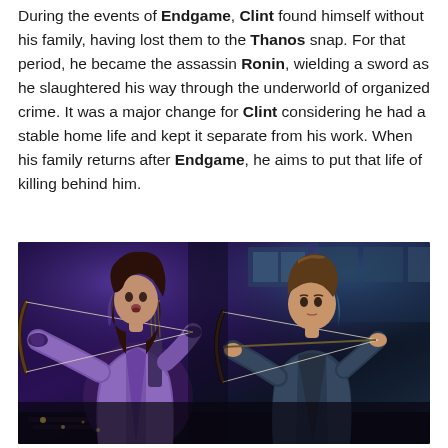During the events of Endgame, Clint found himself without his family, having lost them to the Thanos snap. For that period, he became the assassin Ronin, wielding a sword as he slaughtered his way through the underworld of organized crime. It was a major change for Clint considering he had a stable home life and kept it separate from his work. When his family returns after Endgame, he aims to put that life of killing behind him.
[Figure (photo): Scene from the Hawkeye TV series showing two characters aiming bows. On the left is a young woman (Kate Bishop) in a purple outfit drawing a bow, and on the right is a man (Clint Barton/Hawkeye) in a blue suit also drawing a bow. The background is dark with blue and purple lighting.]